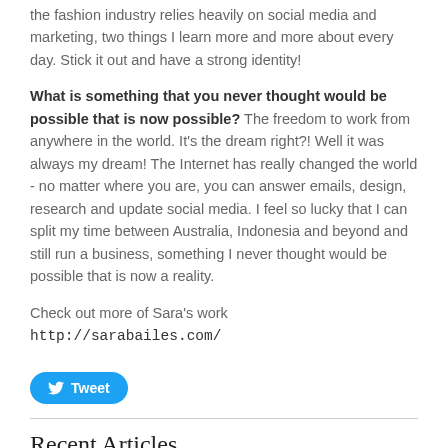the fashion industry relies heavily on social media and marketing, two things I learn more and more about every day. Stick it out and have a strong identity!
What is something that you never thought would be possible that is now possible? The freedom to work from anywhere in the world. It's the dream right?! Well it was always my dream! The Internet has really changed the world - no matter where you are, you can answer emails, design, research and update social media. I feel so lucky that I can split my time between Australia, Indonesia and beyond and still run a business, something I never thought would be possible that is now a reality.
Check out more of Sara's work http://sarabailes.com/
[Figure (other): Twitter Tweet button]
Recent Articles
Free Limedrop Nail Art Template
Posted on April 14, 2020
LIMEDROP INTERVIEW: Talor Browne